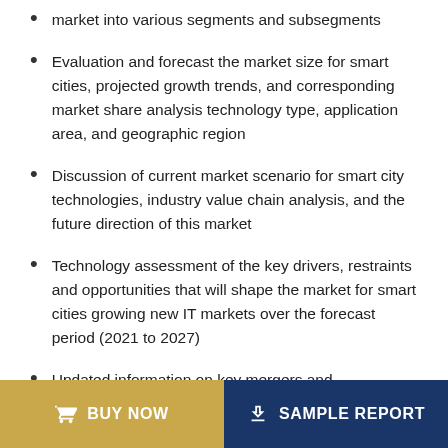market into various segments and subsegments
Evaluation and forecast the market size for smart cities, projected growth trends, and corresponding market share analysis technology type, application area, and geographic region
Discussion of current market scenario for smart city technologies, industry value chain analysis, and the future direction of this market
Technology assessment of the key drivers, restraints and opportunities that will shape the market for smart cities growing new IT markets over the forecast period (2021 to 2027)
Updated information on key mergers and acquisitions,